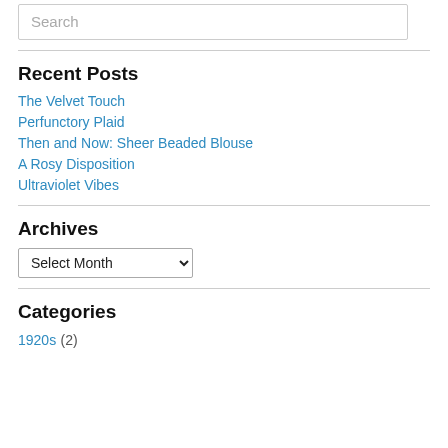Search
Recent Posts
The Velvet Touch
Perfunctory Plaid
Then and Now: Sheer Beaded Blouse
A Rosy Disposition
Ultraviolet Vibes
Archives
Select Month
Categories
1920s (2)